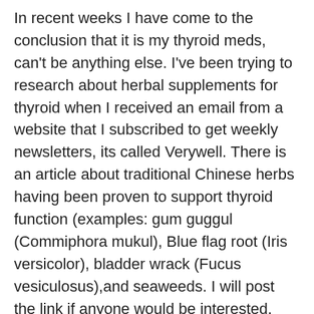In recent weeks I have come to the conclusion that it is my thyroid meds, can't be anything else. I've been trying to research about herbal supplements for thyroid when I received an email from a website that I subscribed to get weekly newsletters, its called Verywell. There is an article about traditional Chinese herbs having been proven to support thyroid function (examples: gum guggul (Commiphora mukul), Blue flag root (Iris versicolor), bladder wrack (Fucus vesiculosus),and seaweeds. I will post the link if anyone would be interested.
But, none-the-less, I am thinking about weaning off my meds and starting on the herbals. I'm in NYS where dr's (even endocrinologists) don't know jack *hit about thyroid disease nor how to treat it (with the exception of functional medicine dr's who have yet to be licensed, NYS is among a few or several states in which bills